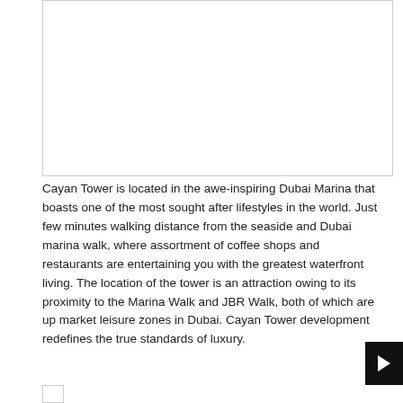[Figure (photo): Large white/blank image area representing a photo of Cayan Tower or Dubai Marina]
Cayan Tower is located in the awe-inspiring Dubai Marina that boasts one of the most sought after lifestyles in the world. Just few minutes walking distance from the seaside and Dubai marina walk, where assortment of coffee shops and restaurants are entertaining you with the greatest waterfront living. The location of the tower is an attraction owing to its proximity to the Marina Walk and JBR Walk, both of which are up market leisure zones in Dubai. Cayan Tower development redefines the true standards of luxury.